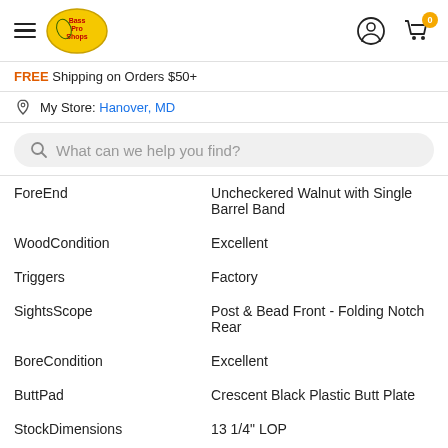Bass Pro Shops navigation header with hamburger menu, logo, user icon, and cart (0 items)
FREE Shipping on Orders $50+
My Store: Hanover, MD
What can we help you find?
| Property | Value |
| --- | --- |
| ForeEnd | Uncheckered Walnut with Single Barrel Band |
| WoodCondition | Excellent |
| Triggers | Factory |
| SightsScope | Post & Bead Front - Folding Notch Rear |
| BoreCondition | Excellent |
| ButtPad | Crescent Black Plastic Butt Plate |
| StockDimensions | 13 1/4" LOP |